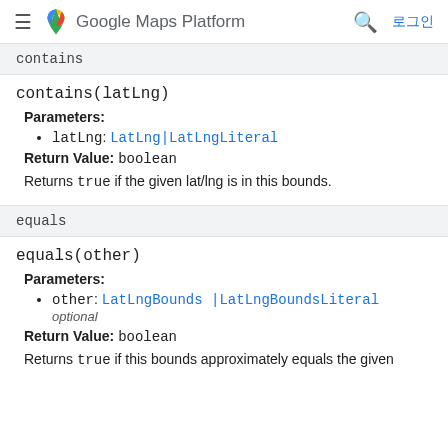Google Maps Platform — 로그인
contains
contains(latLng)
Parameters:
latLng: LatLng|LatLngLiteral
Return Value: boolean
Returns true if the given lat/lng is in this bounds.
equals
equals(other)
Parameters:
other: LatLngBounds|LatLngBoundsLiteral optional
Return Value: boolean
Returns true if this bounds approximately equals the given